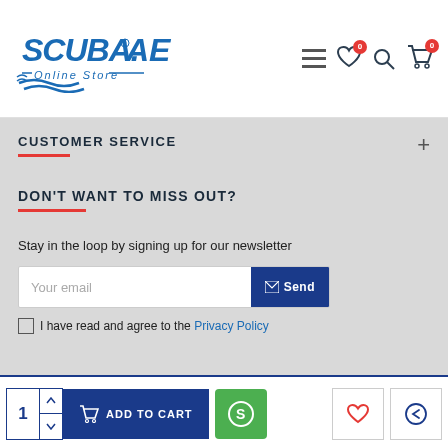[Figure (logo): SCUBA.AE Online Store logo in blue with wave design]
[Figure (infographic): Navigation icons: hamburger menu, heart (0 badge), search, cart (0 badge)]
CUSTOMER SERVICE
DON'T WANT TO MISS OUT?
Stay in the loop by signing up for our newsletter
Your email [input field] Send button
I have read and agree to the Privacy Policy
[Figure (infographic): Social media icons: Facebook, Twitter, Instagram, LinkedIn, YouTube, Skype in white on dark navy background, with teal scroll-to-top button]
[Figure (infographic): Bottom bar: quantity selector showing 1, ADD TO CART blue button, green S button, wishlist heart button, return/exchange button]